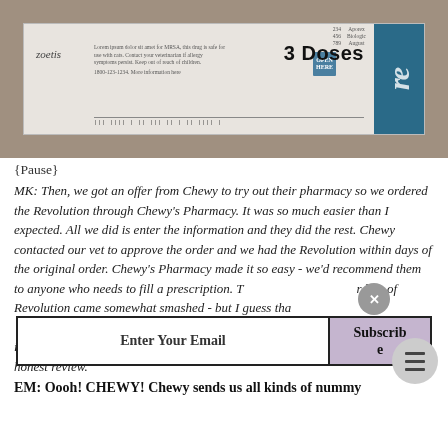[Figure (photo): Photo of a Zoetis Revolution 3 Doses medication box showing packaging with barcode, teal open-here tab, and partial brand name on right side.]
{Pause}
MK: Then, we got an offer from Chewy to try out their pharmacy so we ordered the Revolution through Chewy's Pharmacy. It was so much easier than I expected. All we did is enter the information and they did the rest. Chewy contacted our vet to approve the order and we had the Revolution within days of the original order. Chewy's Pharmacy made it so easy - we'd recommend them to anyone who needs to fill a prescription. The box of Revolution came somewhat smashed - but I guess that can happen with any mail-order pharmacy. I don't think it affected the product - everything looked intact inside. But we promised an honest review.
EM: Oooh! CHEWY! Chewy sends us all kinds of nummy